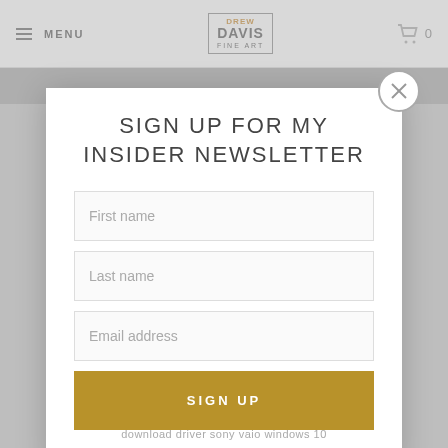MENU | DREW DAVIS FINE ART | 0
SIGN UP FOR MY INSIDER NEWSLETTER
First name
Last name
Email address
SIGN UP
download driver sony vaio windows 10